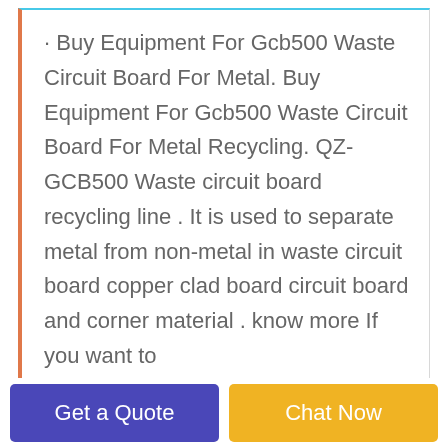· Buy Equipment For Gcb500 Waste Circuit Board For Metal. Buy Equipment For Gcb500 Waste Circuit Board For Metal Recycling. QZ-GCB500 Waste circuit board recycling line . It is used to separate metal from non-metal in waste circuit board copper clad board circuit board and corner material . know more If you want to
[Figure (photo): Industrial recycling machinery with blue pipes/ducts and metal separating equipment inside a factory building]
Get a Quote
Chat Now